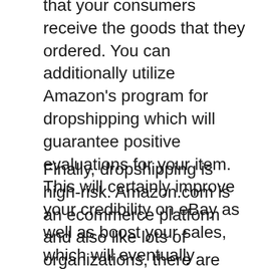that your consumers receive the goods that they ordered. You can additionally utilize Amazon's program for dropshipping which will guarantee positive evaluations for your item. This will certainly improve your credibility on eBay as well as boost your sales, which will eventually convert to more cash for your service.
Finally, dropshipping is high-risk. Amazon.com is an ecommerce platform and also like lots of organizations, there are dangers associated with operating on this platform. It is very easy to obtain your account outlawed from selling on Amazon if the firm detects that you are offering fake product. If you run a dropshipping business using Amazon as your platform, it is